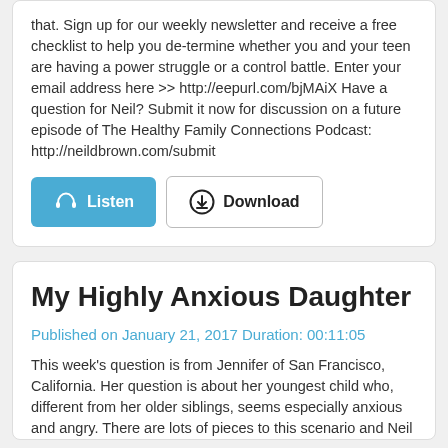that. Sign up for our weekly newsletter and receive a free checklist to help you de-termine whether you and your teen are having a power struggle or a control battle. Enter your email address here >> http://eepurl.com/bjMAiX Have a question for Neil? Submit it now for discussion on a future episode of The Healthy Family Connections Podcast: http://neildbrown.com/submit
[Figure (other): Two buttons: a blue 'Listen' button with headphones icon, and a white 'Download' button with download icon]
My Highly Anxious Daughter
Published on January 21, 2017 Duration: 00:11:05
This week's question is from Jennifer of San Francisco, California. Her question is about her youngest child who, different from her older siblings, seems especially anxious and angry. There are lots of pieces to this scenario and Neil